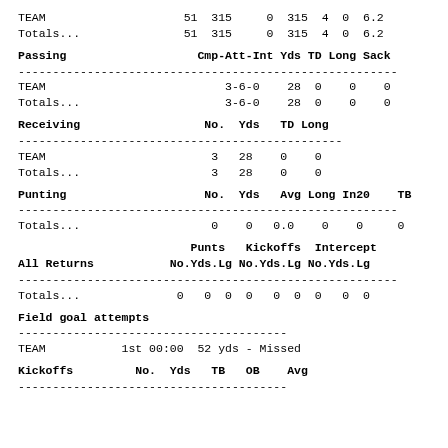|  | 51 | 315 | 0 | 315 | 4 | 0 | 6.2 |
| --- | --- | --- | --- | --- | --- | --- | --- |
| TEAM | 51 | 315 | 0 | 315 | 4 | 0 | 6.2 |
| Totals... | 51 | 315 | 0 | 315 | 4 | 0 | 6.2 |
Passing    Cmp-Att-Int Yds TD Long Sack
|  | Cmp-Att-Int | Yds | TD | Long | Sack |
| --- | --- | --- | --- | --- | --- |
| TEAM | 3-6-0 | 28 | 0 | 0 | 0 |
| Totals... | 3-6-0 | 28 | 0 | 0 | 0 |
Receiving    No.  Yds   TD Long
|  | No. | Yds | TD | Long |
| --- | --- | --- | --- | --- |
| TEAM | 3 | 28 | 0 | 0 |
| Totals... | 3 | 28 | 0 | 0 |
Punting    No.  Yds   Avg Long In20    TB
|  | No. | Yds | Avg | Long | In20 | TB |
| --- | --- | --- | --- | --- | --- | --- |
| Totals... | 0 | 0 | 0.0 | 0 | 0 | 0 |
All Returns    Punts No.Yds.Lg  Kickoffs No.Yds.Lg  Intercept No.Yds.Lg
|  | No. | Yds | Lg | No. | Yds | Lg | No. | Yds | Lg |
| --- | --- | --- | --- | --- | --- | --- | --- | --- | --- |
| Totals... | 0 | 0 | 0 | 0 | 0 | 0 | 0 | 0 | 0 |
Field goal attempts
TEAM    1st 00:00  52 yds - Missed
Kickoffs    No.  Yds   TB   OB    Avg